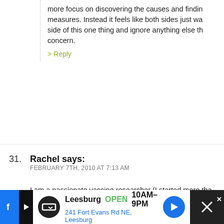more focus on discovering the causes and finding measures. Instead it feels like both sides just wa side of this one thing and ignore anything else th concern.
> Reply
31. Rachel says: FEBRUARY 7TH, 2010 AT 7:13 AM
I am a passionate vaccine researcher (I started more tha when my daughter was an infant). My journey started innocently mom’s friend asked if I was vaccinating...and I said yes...why? S ask me if knew the ingredients and adverse reactions of the giving her...and quite honestly I couldn’t answer her. She then allow
[Figure (other): Advertisement bar at bottom: Leesburg OPEN 10AM-9PM, 241 Fort Evans Rd NE, Leesburg]